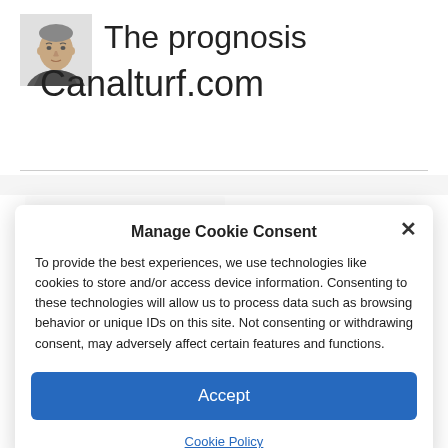[Figure (photo): Small avatar photo of a man in a grey jacket, cropped to head and shoulders]
The prognosis Canalturf.com
[Figure (screenshot): Blurred/partially visible website content below a horizontal divider line]
Manage Cookie Consent
To provide the best experiences, we use technologies like cookies to store and/or access device information. Consenting to these technologies will allow us to process data such as browsing behavior or unique IDs on this site. Not consenting or withdrawing consent, may adversely affect certain features and functions.
Accept
Cookie Policy